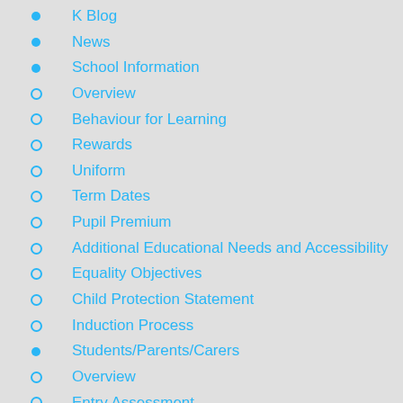K Blog
News
School Information
Overview
Behaviour for Learning
Rewards
Uniform
Term Dates
Pupil Premium
Additional Educational Needs and Accessibility
Equality Objectives
Child Protection Statement
Induction Process
Students/Parents/Carers
Overview
Entry Assessment
Attendance
Testimonials
Useful Links
Privacy Notice
Policies